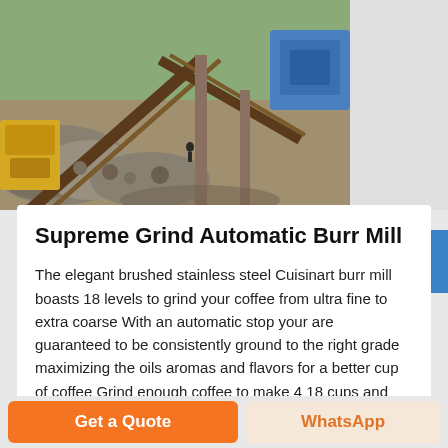[Figure (photo): Industrial quarry/mining site with conveyor belts, large machinery, rocks and stone, with blue and yellow equipment visible. A person stands in the background.]
Supreme Grind Automatic Burr Mill
The elegant brushed stainless steel Cuisinart burr mill boasts 18 levels to grind your coffee from ultra fine to extra coarse With an automatic stop your are guaranteed to be consistently ground to the right grade maximizing the oils aromas and flavors for a better cup of coffee Grind enough coffee to make 4 18 cups and
Haz clic para chatear